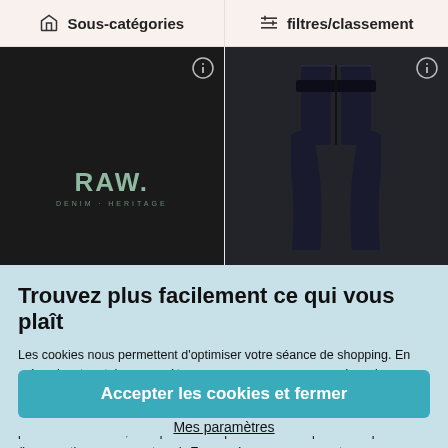Sous-catégories
filtres/classement
[Figure (photo): Black sweatshirt with RAW. text in green letters on dark background]
[Figure (photo): Dark navy jeans on white background]
Trouvez plus facilement ce qui vous plaît
Les cookies nous permettent d'optimiser votre séance de shopping. En mémorisant certains paramètres, nous pouvons vous suggérer plus facilement d'éventuels futurs coups de cœur. Cela nous permet également d'être à vos côtés pendant votre visite et d'identifier les aspects que nous pourrions améliorer, afin que votre expérience soit la plus fluide possible (bugs, options manquantes...). En conséquence, nous partageons ces informations avec nos partenaires, qui nous aident
Accepter les cookies et fermer
Mes paramètres